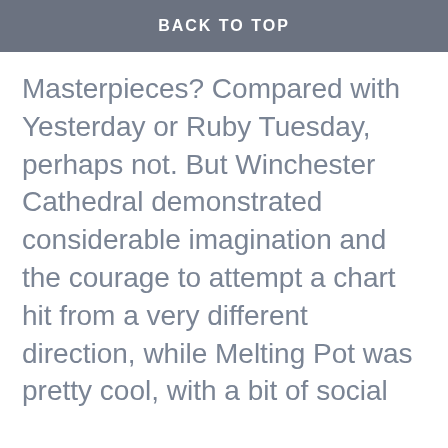BACK TO TOP
Masterpieces? Compared with Yesterday or Ruby Tuesday, perhaps not. But Winchester Cathedral demonstrated considerable imagination and the courage to attempt a chart hit from a very different direction, while Melting Pot was pretty cool, with a bit of social
Privacy & Cookies: This site uses cookies. By continuing to use this website, you agree to their use.
To find out more, including how to control cookies, see here: Cookie Policy
Close and accept